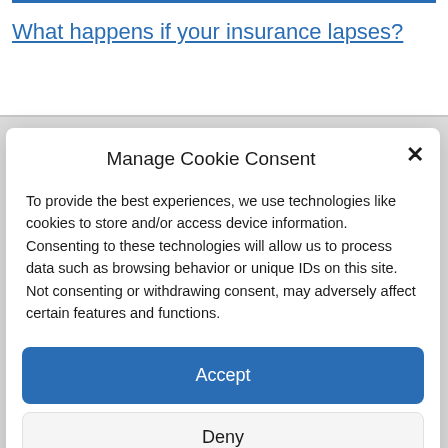What happens if your insurance lapses?
Manage Cookie Consent
To provide the best experiences, we use technologies like cookies to store and/or access device information. Consenting to these technologies will allow us to process data such as browsing behavior or unique IDs on this site. Not consenting or withdrawing consent, may adversely affect certain features and functions.
Accept
Deny
View preferences
Cookie Policy